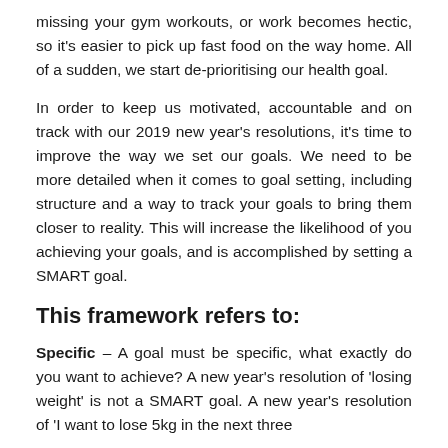missing your gym workouts, or work becomes hectic, so it's easier to pick up fast food on the way home. All of a sudden, we start de-prioritising our health goal.
In order to keep us motivated, accountable and on track with our 2019 new year's resolutions, it's time to improve the way we set our goals. We need to be more detailed when it comes to goal setting, including structure and a way to track your goals to bring them closer to reality. This will increase the likelihood of you achieving your goals, and is accomplished by setting a SMART goal.
This framework refers to:
Specific – A goal must be specific, what exactly do you want to achieve? A new year's resolution of 'losing weight' is not a SMART goal. A new year's resolution of 'I want to lose 5kg in the next three months for the wedding' is a SMART goal.